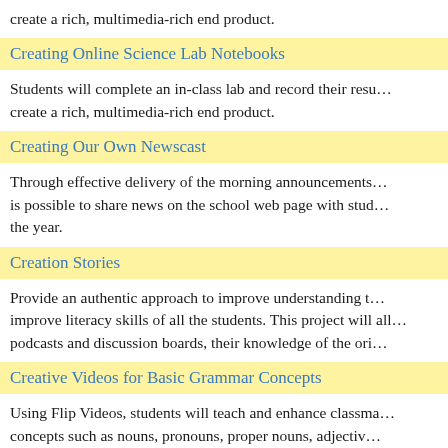create a rich, multimedia-rich end product.
Creating Online Science Lab Notebooks
Students will complete an in-class lab and record their resu… create a rich, multimedia-rich end product.
Creating Our Own Newscast
Through effective delivery of the morning announcements… is possible to share news on the school web page with stud… the year.
Creation Stories
Provide an authentic approach to improve understanding t… improve literacy skills of all the students. This project will all… podcasts and discussion boards, their knowledge of the ori…
Creative Videos for Basic Grammar Concepts
Using Flip Videos, students will teach and enhance classma… concepts such as nouns, pronouns, proper nouns, adjectiv…
Crikey! It's a Part of Speech!